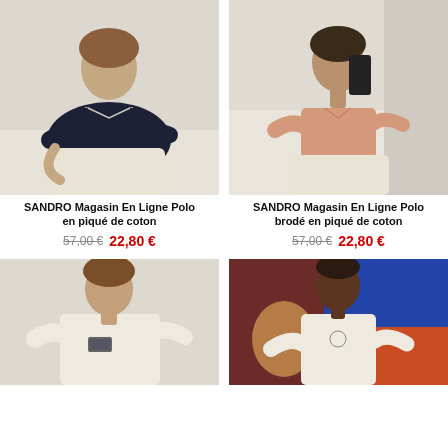[Figure (photo): Male model seated wearing dark navy polo shirt with white trim collar, cream wide-leg trousers, on light beige background]
SANDRO Magasin En Ligne Polo en piqué de coton
57,00 €  22,80 €
[Figure (photo): Male model standing wearing pink/salmon polo shirt, holding dark clutch bag, cream trousers, on light beige background]
SANDRO Magasin En Ligne Polo brodé en piqué de coton
57,00 €  22,80 €
[Figure (photo): Male model wearing cream/off-white t-shirt with small patch logo, on light beige background]
[Figure (photo): Male model wearing cream/off-white t-shirt with small graphic, standing in front of colorful abstract artwork with dark red, blue and orange shapes]